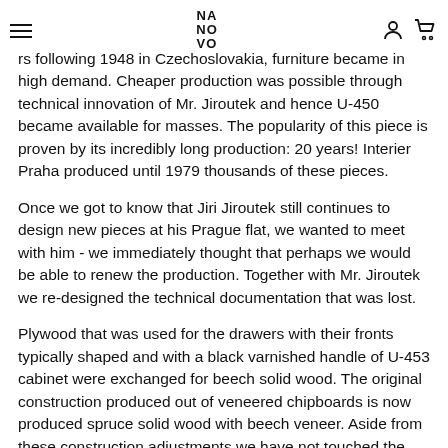NA NO VO
rs following 1948 in Czechoslovakia, furniture became in high demand. Cheaper production was possible through technical innovation of Mr. Jiroutek and hence U-450 became available for masses. The popularity of this piece is proven by its incredibly long production: 20 years! Interier Praha produced until 1979 thousands of these pieces.
Once we got to know that Jiri Jiroutek still continues to design new pieces at his Prague flat, we wanted to meet with him - we immediately thought that perhaps we would be able to renew the production. Together with Mr. Jiroutek we re-designed the technical documentation that was lost.
Plywood that was used for the drawers with their fronts typically shaped and with a black varnished handle of U-453 cabinet were exchanged for beech solid wood. The original construction produced out of veneered chipboards is now produced spruce solid wood with beech veneer. Aside from these construction adjustments we have not touched the designes and left everything as it was designed 60 years ago by Jiri Jiroutek.
Cooperation with Mr. Jiroutek lead to a contract making